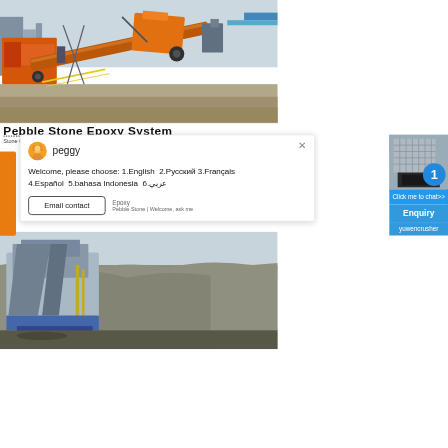[Figure (photo): Industrial stone crushing/mining equipment with orange conveyor belts and machinery at a quarry or mining site. Heavy equipment including crushers and conveyors visible against a grey sky.]
Pebble Stone Epoxy System
peggy
Welcome, please choose: 1.English 2.Русский 3.Français 4.Español 5.bahasa Indonesia 6.عربي
Email contact
Epoxy
Click me to chat>>
Enquiry
yuwencrusher
[Figure (photo): Stone crusher machine in a quarry setting with rocky terrain in background. Industrial crushing equipment.]